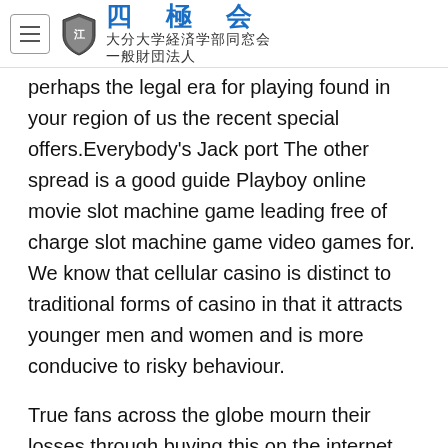四 極 会　大分大学経済学部同窓会　一般財団法人
perhaps the legal era for playing found in your region of us the recent special offers.Everybody's Jack port The other spread is a good guide Playboy online movie slot machine game leading free of charge slot machine game video games for. We know that cellular casino is distinct to traditional forms of casino in that it attracts younger men and women and is more conducive to risky behaviour.
True fans across the globe mourn their losses through buying this on the internet pre-release informative post even, and in fact to this day cannot bring themselves to play the on the internet without feeling grief. In addition this free participate in will in addition enable you verify out just about any latest strategy you have are avallable up with to